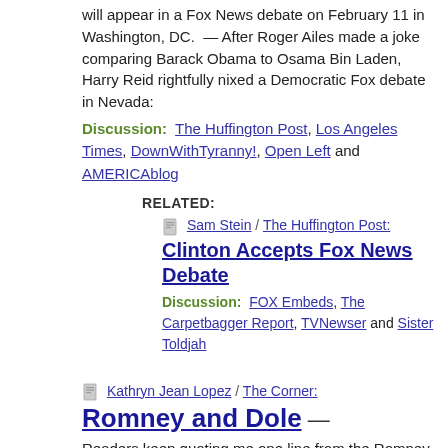will appear in a Fox News debate on February 11 in Washington, DC. — After Roger Ailes made a joke comparing Barack Obama to Osama Bin Laden, Harry Reid rightfully nixed a Democratic Fox debate in Nevada:
Discussion: The Huffington Post, Los Angeles Times, DownWithTyranny!, Open Left and AMERICAblog
RELATED:
Sam Stein / The Huffington Post:
Clinton Accepts Fox News Debate
Discussion: FOX Embeds, The Carpetbagger Report, TVNewser and Sister Toldjah
Kathryn Jean Lopez / The Corner:
Romney and Dole
Readers keep quoting me one line from the Romney-Doocy interview this morning, here's what he said, plus the video:
Discussion: American Spectator
RELATED: